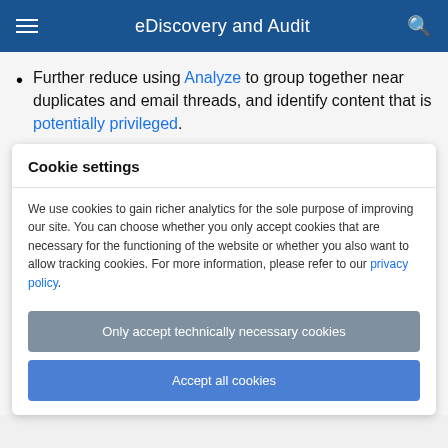eDiscovery and Audit
Further reduce using Analyze to group together near duplicates and email threads, and identify content that is potentially privileged.
Cookie settings
We use cookies to gain richer analytics for the sole purpose of improving our site. You can choose whether you only accept cookies that are necessary for the functioning of the website or whether you also want to allow tracking cookies. For more information, please refer to our privacy policy.
Only accept technically necessary cookies
Accept all cookies